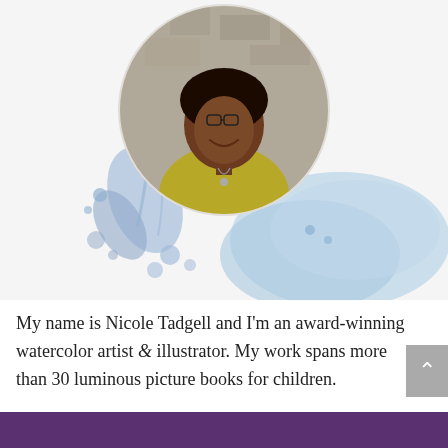[Figure (photo): Portrait photo of Nicole Tadgell, a woman smiling, wearing glasses and a yellow-green top with a necklace, shown in a circular crop with a stone wall background. Blue watercolor splashes and blobs surround the circular photo.]
My name is Nicole Tadgell and I'm an award-winning watercolor artist & illustrator. My work spans more than 30 luminous picture books for children.